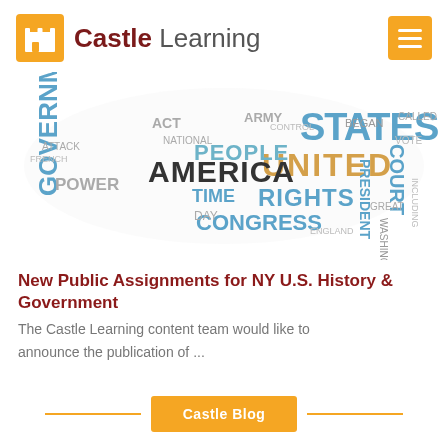Castle Learning
[Figure (illustration): Word cloud in the shape of the United States map, featuring words related to US History and Government such as STATES, UNITED, RIGHTS, CONGRESS, AMERICA, GOVERNMENT, PEOPLE, PRESIDENT, COURT, etc. in blue, teal, and dark gray colors.]
New Public Assignments for NY U.S. History & Government
The Castle Learning content team would like to announce the publication of ...
Castle Blog